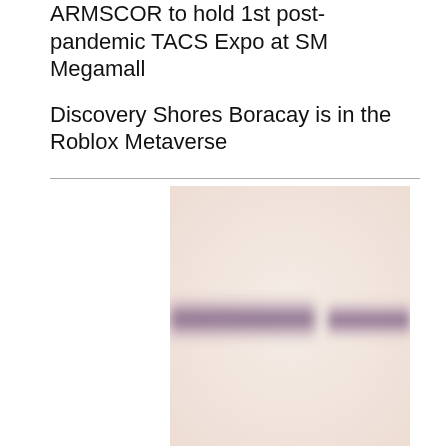ARMSCOR to hold 1st post-pandemic TACS Expo at SM Megamall
Discovery Shores Boracay is in the Roblox Metaverse
[Figure (photo): A beige/cream-colored image with a horizontal blurred purple/mauve band running across the middle, suggesting a blurred banner or flag with two distinct purple sections separated by a lighter gap.]